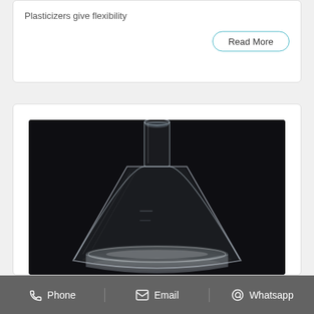Plasticizers give flexibility
Read More
[Figure (photo): Erlenmeyer flask containing a clear liquid, photographed on a dark/black background. The flask is transparent glass with a conical shape and a narrow neck.]
Phone   Email   Whatsapp